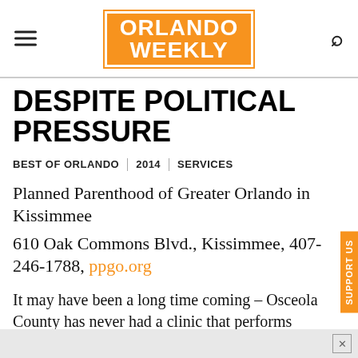Orlando Weekly
DESPITE POLITICAL PRESSURE
BEST OF ORLANDO | 2014 | SERVICES
Planned Parenthood of Greater Orlando in Kissimmee
610 Oak Commons Blvd., Kissimmee, 407-246-1788, ppgo.org
It may have been a long time coming – Osceola County has never had a clinic that performs